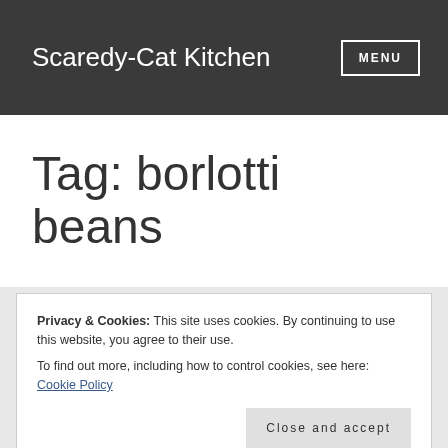Scaredy-Cat Kitchen  MENU
Tag: borlotti beans
Privacy & Cookies: This site uses cookies. By continuing to use this website, you agree to their use.
To find out more, including how to control cookies, see here: Cookie Policy
Close and accept
LUNCH • Tagged BAKED BEANS, BEANS,